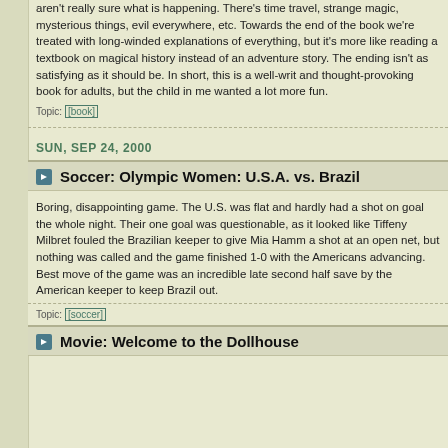aren't really sure what is happening. There's time travel, strange magic, mysterious things, evil everywhere, etc. Towards the end of the book we're treated with long-winded explanations of everything, but it's more like reading a textbook on magical history instead of an adventure story. The ending isn't as satisfying as it should be. In short, this is a well-written and thought-provoking book for adults, but the child in me wanted a lot more fun.
Topic: [book]
SUN, SEP 24, 2000
Soccer: Olympic Women: U.S.A. vs. Brazil
Boring, disappointing game. The U.S. was flat and hardly had a shot on goal the whole night. Their one goal was questionable, as it looked like Tiffeny Milbret fouled the Brazilian keeper to give Mia Hamm a shot at an open net, but nothing was called and the game finished 1-0 with the Americans advancing. Best move of the game was an incredible late second half save by the American keeper to keep Brazil out.
Topic: [soccer]
Movie: Welcome to the Dollhouse